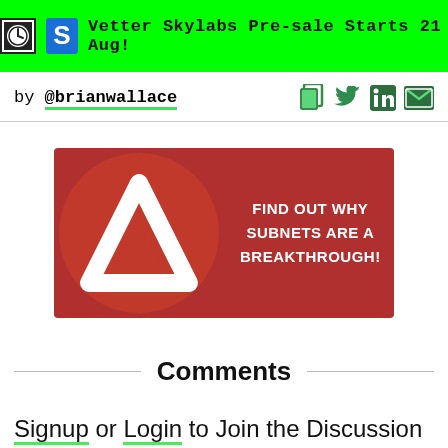Vetter Skylabs Pre-sale Starts 21 Aug!
by @brianwallace
[Figure (illustration): Red banner advertisement with Avalanche logo (white triangle A on red circle) on left and text 'FIND OUT WHY SUBNETS ARE A BREAKTHROUGH!' on right]
Comments
Signup or Login to Join the Discussion